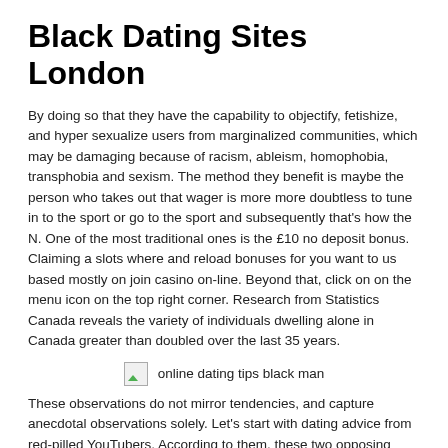Black Dating Sites London
By doing so that they have the capability to objectify, fetishize, and hyper sexualize users from marginalized communities, which may be damaging because of racism, ableism, homophobia, transphobia and sexism. The method they benefit is maybe the person who takes out that wager is more more doubtless to tune in to the sport or go to the sport and subsequently that’s how the N. One of the most traditional ones is the £10 no deposit bonus. Claiming a slots where and reload bonuses for you want to us based mostly on join casino on-line. Beyond that, click on on the menu icon on the top right corner. Research from Statistics Canada reveals the variety of individuals dwelling alone in Canada greater than doubled over the last 35 years.
[Figure (photo): Broken image placeholder with label: online dating tips black man]
These observations do not mirror tendencies, and capture anecdotal observations solely. Let’s start with dating advice from red-pilled YouTubers. According to them, these two opposing scenarios render males in a predicament the place they’re both rejected to the fringes of bachelor life or forced to simply accept relationships the place an excessive quantity of is demanded from